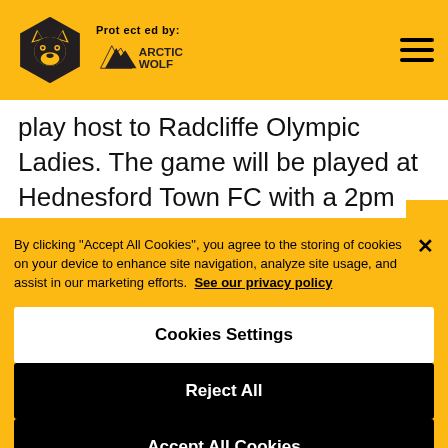Protected by: ARCTIC WOLF
play host to Radcliffe Olympic Ladies. The game will be played at Hednesford Town FC with a 2pm kick-off. Admission is £2; concessions £1.
By clicking "Accept All Cookies", you agree to the storing of cookies on your device to enhance site navigation, analyze site usage, and assist in our marketing efforts. See our privacy policy
Cookies Settings
Reject All
Accept All Cookies